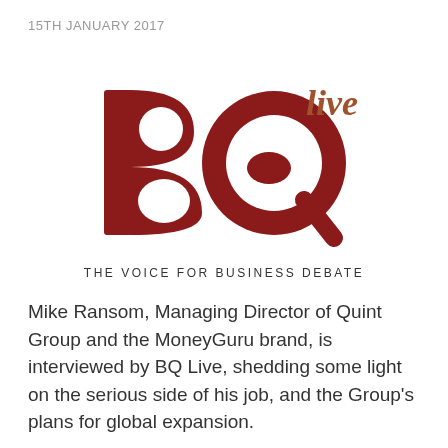15TH JANUARY 2017
[Figure (logo): BQ Live logo — large dark red 'BQ' letters with 'live' in cursive brown script as superscript, and tagline 'THE VOICE FOR BUSINESS DEBATE' beneath]
Mike Ransom, Managing Director of Quint Group and the MoneyGuru brand, is interviewed by BQ Live, shedding some light on the serious side of his job, and the Group’s plans for global expansion.